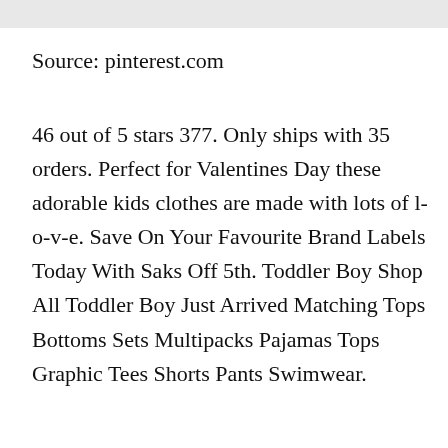Source: pinterest.com
46 out of 5 stars 377. Only ships with 35 orders. Perfect for Valentines Day these adorable kids clothes are made with lots of l-o-v-e. Save On Your Favourite Brand Labels Today With Saks Off 5th. Toddler Boy Shop All Toddler Boy Just Arrived Matching Tops Bottoms Sets Multipacks Pajamas Tops Graphic Tees Shorts Pants Swimwear.